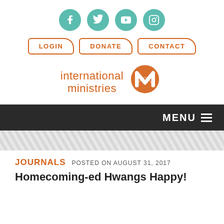[Figure (infographic): Social media icons row: Facebook, Twitter, YouTube, Instagram — teal circular buttons]
[Figure (infographic): Navigation buttons: LOGIN, DONATE, CONTACT — orange bordered rounded rectangle buttons]
[Figure (logo): International Ministries logo with orange swirl/IM icon and orange text 'international ministries']
[Figure (screenshot): Dark navigation bar with MENU and hamburger icon on right side]
[Figure (infographic): Diagonal striped gray decorative divider band]
JOURNALS   POSTED ON AUGUST 31, 2017
Homecoming-ed Hwangs Happy!